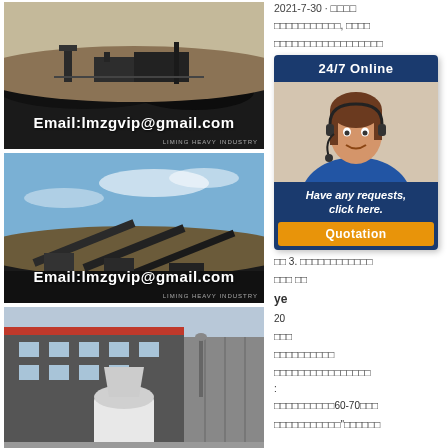[Figure (photo): Mining/crushing equipment on site with dark coal piles and machinery, with email overlay 'Email:lmzgvip@gmail.com']
[Figure (photo): Conveyor belt and screening equipment on an outdoor mining site under blue sky, with email overlay 'Email:lmzgvip@gmail.com']
[Figure (photo): Industrial factory building with large crushing/milling machinery outside]
2021-7-30 · □□□□ □□□□□□□□□□□, □□□□ □□□□□□□□□□□□□□□□□□ □□□ □□□□□□□□□□□□□□ □□ 3. □□□□□□□□□□□□ □□□ □□ ye 20 □□□ □□□□□□□□□□ □□□□□□□□□□□□□□□□ □□□□□□□□□□□□□□□□ :  □□□□□□□□□□□60-70□□□ □□□□□□□□□□□"□□□□□□
[Figure (infographic): 24/7 Online chat widget with customer service representative photo, 'Have any requests, click here.' text and orange Quotation button]